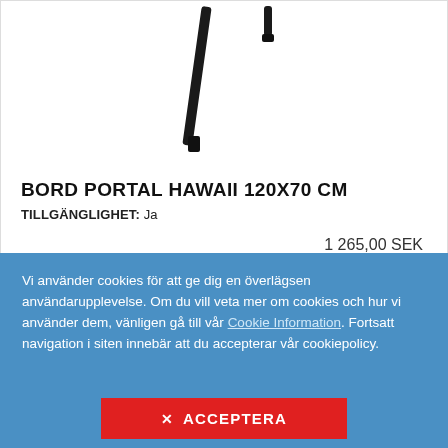[Figure (photo): Partial product image showing dark table legs on white background]
BORD PORTAL HAWAII 120X70 CM
TILLGÄNGLIGHET:  Ja
1 265,00 SEK
Vi använder cookies för att ge dig en överlägsen användarupplevelse. Om du vill veta mer om cookies och hur vi använder dem, vänligen gå till vår Cookie Information. Fortsatt navigation i siten innebär att du accepterar vår cookiepolicy.
✕ ACCEPTERA